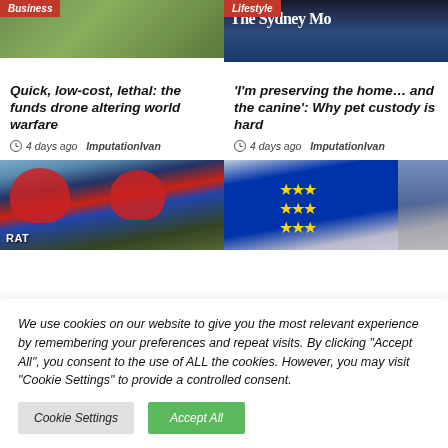[Figure (photo): Business article thumbnail - green/nature background with Business category badge]
[Figure (photo): Lifestyle article thumbnail - Sydney Morning Herald masthead with Lifestyle category badge]
Quick, low-cost, lethal: the funds drone altering world warfare
'I'm preserving the home… and the canine': Why pet custody is hard
4 days ago  ImputationIvan
4 days ago  ImputationIvan
[Figure (photo): Cricket players wearing red helmets]
[Figure (photo): EU flags with people in background]
We use cookies on our website to give you the most relevant experience by remembering your preferences and repeat visits. By clicking "Accept All", you consent to the use of ALL the cookies. However, you may visit "Cookie Settings" to provide a controlled consent.
Cookie Settings
Accept All